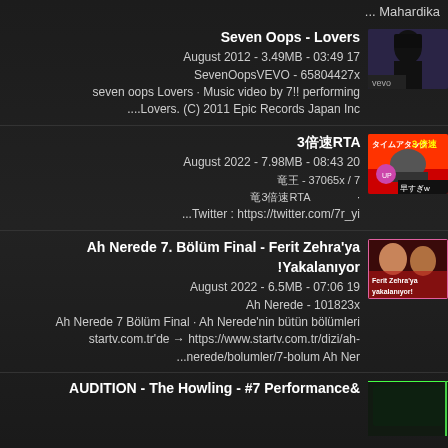... Mahardika
Seven Oops - Lovers
August 2012 - 3.49MB - 03:49 17
SevenOopsVEVO - 65804427x
seven oops Lovers · Music video by 7!! performing ....Lovers. (C) 2011 Epic Records Japan Inc
3倍速RTA
August 2022 - 7.98MB - 08:43 20
竜王 - 37065x / 7
竜3倍速RTA · Twitter : https://twitter.com/7r_yi
Ah Nerede 7. Bölüm Final - Ferit Zehra'ya !Yakalanıyor
August 2022 - 6.5MB - 07:06 19
Ah Nerede - 101823x
Ah Nerede 7 Bölüm Final · Ah Nerede'nin bütün bölümleri startv.com.tr'de → https://www.startv.com.tr/dizi/ah-...nerede/bolumler/7-bolum Ah Ner
AUDITION - The Howling - #7 Performance&